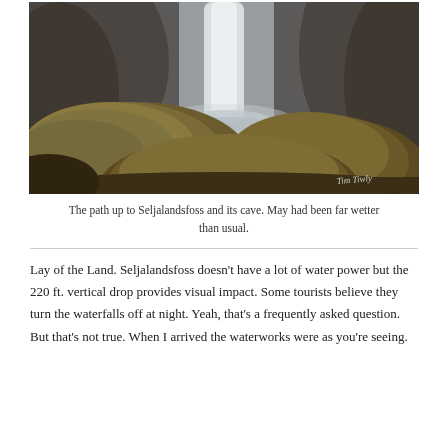[Figure (photo): Photograph of the path up to Seljalandsfoss waterfall, showing mossy rocks in the foreground with the waterfall cascading in the background. A photographer's watermark signature is visible in the lower right corner.]
The path up to Seljalandsfoss and its cave. May had been far wetter than usual.
Lay of the Land. Seljalandsfoss doesn't have a lot of water power but the 220 ft. vertical drop provides visual impact. Some tourists believe they turn the waterfalls off at night. Yeah, that's a frequently asked question. But that's not true. When I arrived the waterworks were as you're seeing.